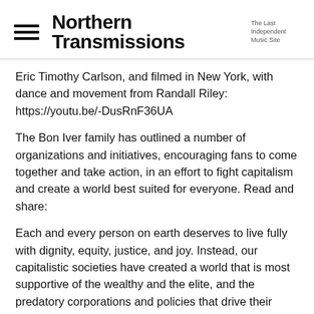Northern Transmissions — The Last Independent Music Site
Eric Timothy Carlson, and filmed in New York, with dance and movement from Randall Riley: https://youtu.be/-DusRnF36UA
The Bon Iver family has outlined a number of organizations and initiatives, encouraging fans to come together and take action, in an effort to fight capitalism and create a world best suited for everyone. Read and share:
Each and every person on earth deserves to live fully with dignity, equity, justice, and joy. Instead, our capitalistic societies have created a world that is most supportive of the wealthy and the elite, and the predatory corporations and policies that drive their disproportionate success.
The average person is cast aside and unheard; marginalized communities are further oppressed due to